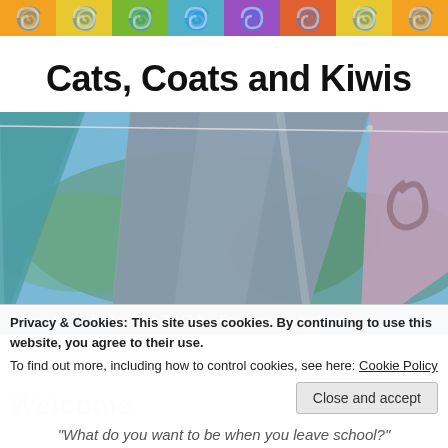[Figure (illustration): Decorative header banner with colorful swirl/scroll tile pattern in orange, yellow, green, teal, purple, red across the full width]
Cats, Coats and Kiwis
[Figure (photo): Photo of colorful fabric flags or prayer flags hanging on a wire outdoors against a blue sky with blurred foliage — gray/blue triangular flag in center, pink/mauve flag on right, teal on far left]
Home   Blog   Books   The 200 Club   Photography   Sustainab...
Privacy & Cookies: This site uses cookies. By continuing to use this website, you agree to their use.
To find out more, including how to control cookies, see here: Cookie Policy
Welcome
"What do you want to be when you leave school?"